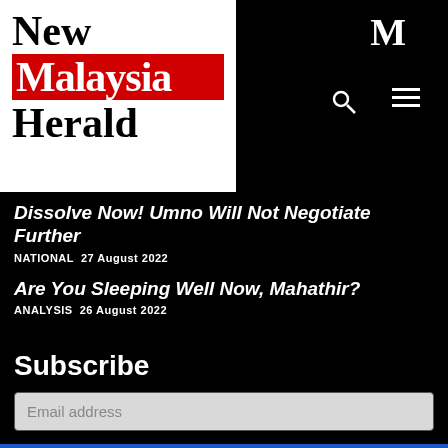[Figure (logo): New Malaysia Herald logo: 'New' in black serif, 'Malaysia' on red background in white serif, 'Herald' in black serif, all on white box]
Dissolve Now! Umno Will Not Negotiate Further
NATIONAL  27 August 2022
Are You Sleeping Well Now, Mahathir?
ANALYSIS  26 August 2022
Subscribe
Email address